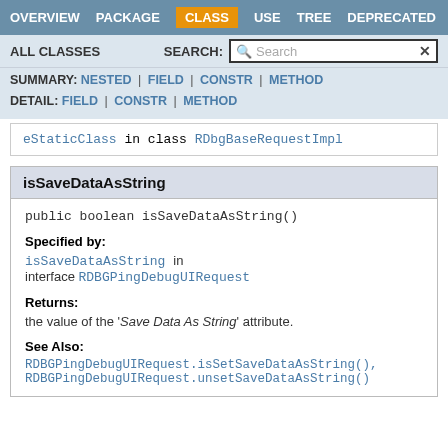OVERVIEW | PACKAGE | CLASS | USE | TREE | DEPRECATED
ALL CLASSES | SEARCH:
SUMMARY: NESTED | FIELD | CONSTR | METHOD
DETAIL: FIELD | CONSTR | METHOD
eStaticClass in class RDbgBaseRequestImpl
isSaveDataAsString
public boolean isSaveDataAsString()
Specified by:
isSaveDataAsString in interface RDBGPingDebugUIRequest
Returns:
the value of the 'Save Data As String' attribute.
See Also:
RDBGPingDebugUIRequest.isSetSaveDataAsString(), RDBGPingDebugUIRequest.unsetSaveDataAsString()